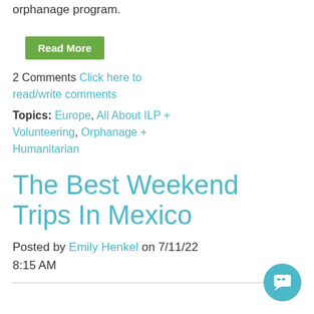orphanage program.
Read More
2 Comments Click here to read/write comments
Topics: Europe, All About ILP + Volunteering, Orphanage + Humanitarian
The Best Weekend Trips In Mexico
Posted by Emily Henkel on 7/11/22 8:15 AM
[Figure (other): Chat widget button (teal circle with chat icon)]